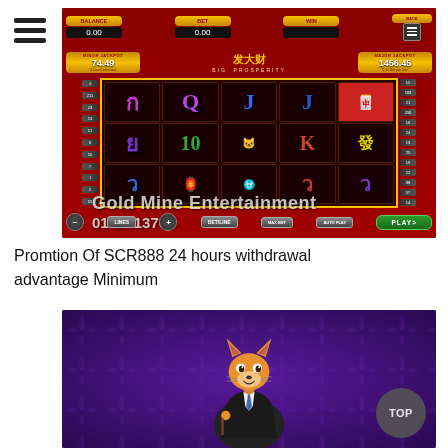[Figure (screenshot): Screenshot of SCR888 slot game 'Big Prosperity' (发大财) showing slot reels with symbols including Q, J, 10, 发 and a golden cat. Minor jackpot shows 74.49, major jackpot shows 1456.45. Watermark overlay reads 'Gold Mine Entertainment 0142613760'.]
Promtion Of SCR888 24 hours withdrawal advantage Minimum
[Figure (screenshot): Screenshot showing a cartoon fox character in a suit against a purple damask-patterned background, partial view (bottom portion cut off). A dark 'TOP' button overlays the bottom-right corner.]